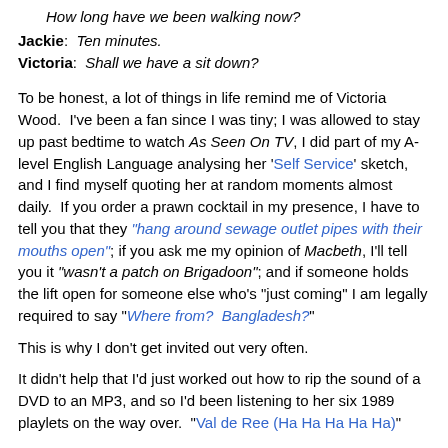How long have we been walking now?
Jackie: Ten minutes.
Victoria: Shall we have a sit down?
To be honest, a lot of things in life remind me of Victoria Wood. I've been a fan since I was tiny; I was allowed to stay up past bedtime to watch As Seen On TV, I did part of my A-level English Language analysing her 'Self Service' sketch, and I find myself quoting her at random moments almost daily. If you order a prawn cocktail in my presence, I have to tell you that they "hang around sewage outlet pipes with their mouths open"; if you ask me my opinion of Macbeth, I'll tell you it "wasn't a patch on Brigadoon"; and if someone holds the lift open for someone else who's "just coming" I am legally required to say "Where from? Bangladesh?"
This is why I don't get invited out very often.
It didn't help that I'd just worked out how to rip the sound of a DVD to an MP3, and so I'd been listening to her six 1989 playlets on the way over. "Val de Ree (Ha Ha Ha Ha Ha)"